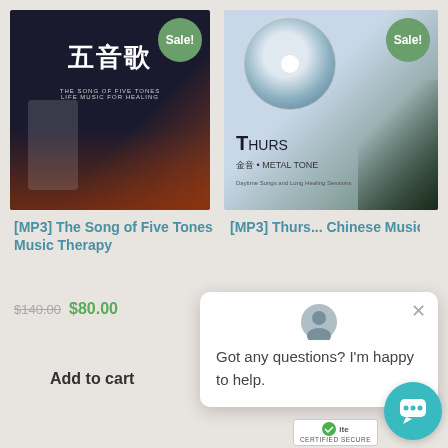[Figure (photo): Product image for [MP3] The Song of Five Tones Music Therapy album with Sale badge]
[Figure (photo): Product image for [MP3] Thursday Chinese Music album with Sale badge]
[MP3] The Song of Five Tones Music Therapy
[MP3] Thurs... Chinese Music
$140.00  $80.00
$100.00
Add to cart
Add to cart
Got any questions? I'm happy to help.